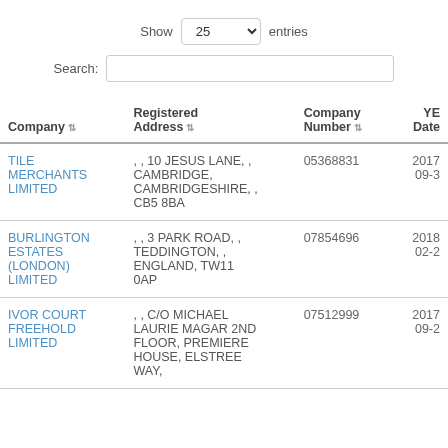| Company | Registered Address | Company Number | YE Date |
| --- | --- | --- | --- |
| TILE MERCHANTS LIMITED | , , 10 JESUS LANE, , CAMBRIDGE, CAMBRIDGESHIRE, , CB5 8BA | 05368831 | 2017-09-3 |
| BURLINGTON ESTATES (LONDON) LIMITED | , , 3 PARK ROAD, , TEDDINGTON, , ENGLAND, TW11 0AP | 07854696 | 2018-02-2 |
| IVOR COURT FREEHOLD LIMITED | , , C/O MICHAEL LAURIE MAGAR 2ND FLOOR, PREMIERE HOUSE, ELSTREE WAY, | 07512999 | 2017-09-2 |